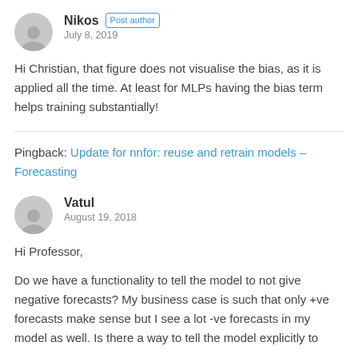Nikos  Post author
July 8, 2019
Hi Christian, that figure does not visualise the bias, as it is applied all the time. At least for MLPs having the bias term helps training substantially!
Pingback: Update for nnfor: reuse and retrain models – Forecasting
Vatul
August 19, 2018
Hi Professor,
Do we have a functionality to tell the model to not give negative forecasts? My business case is such that only +ve forecasts make sense but I see a lot -ve forecasts in my model as well. Is there a way to tell the model explicitly to